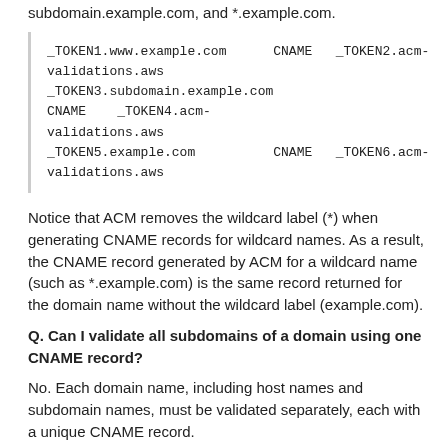subdomain.example.com, and *.example.com.
_TOKEN1.www.example.com    CNAME    _TOKEN2.acm-validations.aws
_TOKEN3.subdomain.example.com CNAME    _TOKEN4.acm-validations.aws
_TOKEN5.example.com           CNAME    _TOKEN6.acm-validations.aws
Notice that ACM removes the wildcard label (*) when generating CNAME records for wildcard names. As a result, the CNAME record generated by ACM for a wildcard name (such as *.example.com) is the same record returned for the domain name without the wildcard label (example.com).
Q. Can I validate all subdomains of a domain using one CNAME record?
No. Each domain name, including host names and subdomain names, must be validated separately, each with a unique CNAME record.